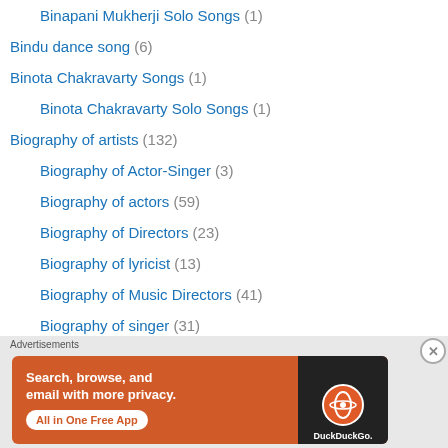Binapani Mukherji Solo Songs (1)
Bindu dance song (6)
Binota Chakravarty Songs (1)
Binota Chakravarty Solo Songs (1)
Biography of artists (132)
Biography of Actor-Singer (3)
Biography of actors (59)
Biography of Directors (23)
Biography of lyricist (13)
Biography of Music Directors (41)
Biography of singer (31)
Bird songs (155)
"Mor" songs (18)
"Donabhi" song (4)
[Figure (infographic): DuckDuckGo advertisement banner: orange background with text 'Search, browse, and email with more privacy. All in One Free App' alongside a smartphone image with DuckDuckGo logo]